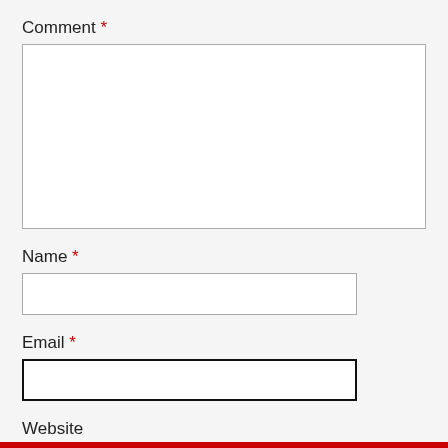Comment *
[Figure (other): Empty comment textarea input box with gray border]
Name *
[Figure (other): Empty name text input box with gray border]
Email *
[Figure (other): Empty email text input box with thick black border (focused state)]
Website
[Figure (other): Partial empty website text input box with gray border]